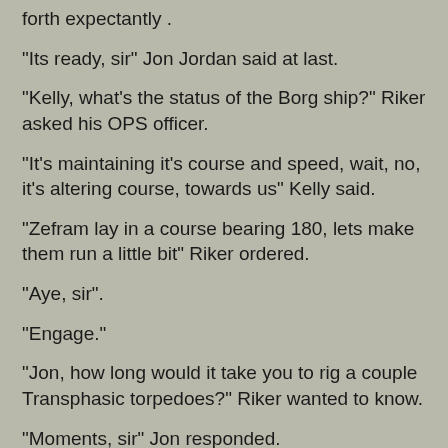forth expectantly .
"Its ready, sir" Jon Jordan said at last.
"Kelly, what's the status of the Borg ship?" Riker asked his OPS officer.
"It's maintaining it's course and speed, wait, no, it's altering course, towards us" Kelly said.
"Zefram lay in a course bearing 180, lets make them run a little bit" Riker ordered.
"Aye, sir".
"Engage."
"Jon, how long would it take you to rig a couple Transphasic torpedoes?" Riker wanted to know.
"Moments, sir" Jon responded.
"Get on it."
Jon Jordan got up and left the bridge.